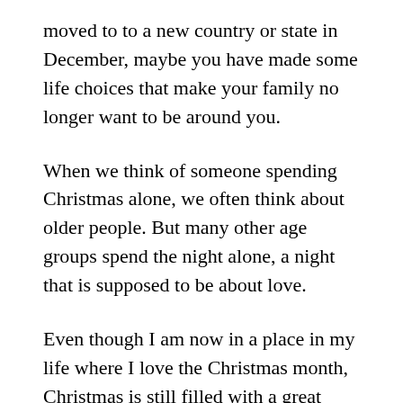moved to to a new country or state in December, maybe you have made some life choices that make your family no longer want to be around you.
When we think of someone spending Christmas alone, we often think about older people. But many other age groups spend the night alone, a night that is supposed to be about love.
Even though I am now in a place in my life where I love the Christmas month, Christmas is still filled with a great sadness that always shows up at some point during the Christmas preparations. A sadness that is multilayered.